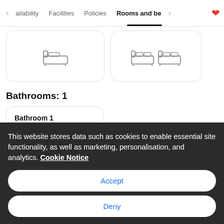< ailability   Facilities   Policies   Rooms and be >  ♡
[Figure (illustration): Single bed icon in a white rounded card]
[Figure (illustration): Two single bed icons side by side in a white rounded card]
Bathrooms: 1
Bathroom 1
This website stores data such as cookies to enable essential site functionality, as well as marketing, personalisation, and analytics. Cookie Notice
Accept
Deny